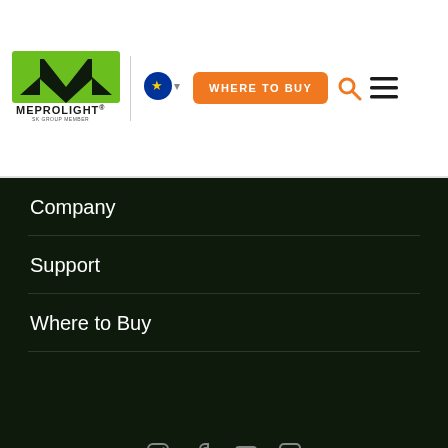[Figure (logo): Meprolight green M logo with MEPROLIGHT text and SK GROUP MEMBER tagline in header]
[Figure (logo): EU flag circle icon with dropdown arrow for language selection]
[Figure (other): Orange WHERE TO BUY button]
[Figure (other): Orange search icon and hamburger menu icon]
Company
Support
Where to Buy
[Figure (logo): Large Meprolight green M logo with MEPROLIGHT text and SK GROUP MEMBER tagline on dark background]
[Figure (other): Social media icons row (Instagram, Facebook, YouTube, LinkedIn)]